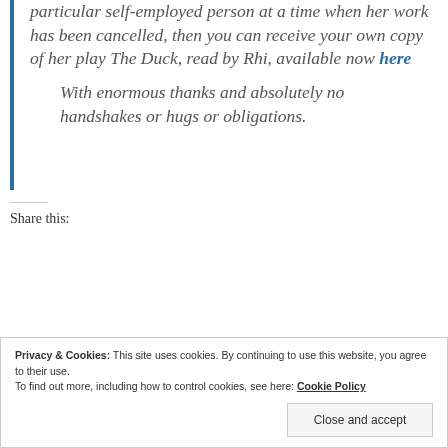particular self-employed person at a time when her work has been cancelled, then you can receive your own copy of her play The Duck, read by Rhi, available now here
With enormous thanks and absolutely no handshakes or hugs or obligations.
Share this:
Privacy & Cookies: This site uses cookies. By continuing to use this website, you agree to their use. To find out more, including how to control cookies, see here: Cookie Policy